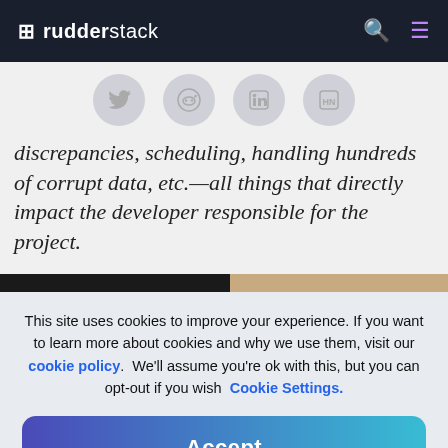rudderstack
[Figure (illustration): Social sharing icons row: Twitter, Reddit, LinkedIn, Hacker News circles in grey]
discrepancies, scheduling, handling hundreds of corrupt data, etc.—all things that directly impact the developer responsible for the project.
[Figure (photo): Horizontal image strip split: dark/black left half, tan/beige right half]
This site uses cookies to improve your experience. If you want to learn more about cookies and why we use them, visit our cookie policy.  We'll assume you're ok with this, but you can opt-out if you wish  Cookie Settings.
Accept